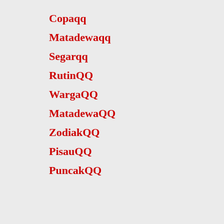Copaqq
Matadewaqq
Segarqq
RutinQQ
WargaQQ
MatadewaQQ
ZodiakQQ
PisauQQ
PuncakQQ